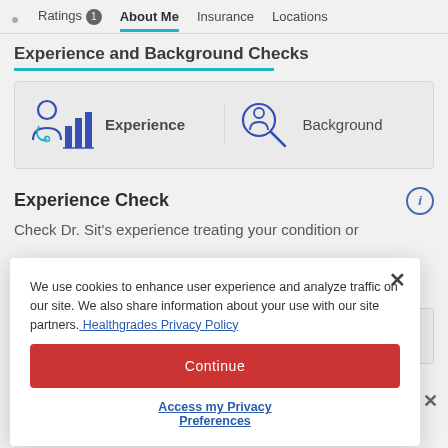Ratings 1  About Me  Insurance  Locations
Experience and Background Checks
[Figure (infographic): Two tab buttons: Experience (icon of doctor with chart) and Background (icon of person with magnifying glass)]
Experience Check
Check Dr. Sit's experience treating your condition or
We use cookies to enhance user experience and analyze traffic on our site. We also share information about your use with our site partners. Healthgrades Privacy Policy
Continue
Access my Privacy Preferences